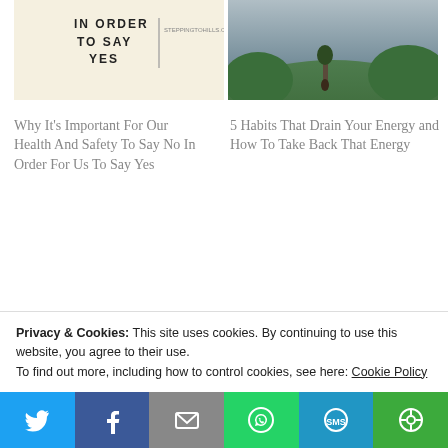[Figure (photo): Cream/beige background with bold text 'IN ORDER TO SAY YES' and a small URL 'STEPPINGTOHILLS.CC' with a vertical line divider]
[Figure (photo): Outdoor landscape photo with mountains and trees, a person walking on a path]
Why It's Important For Our Health And Safety To Say No In Order For Us To Say Yes
5 Habits That Drain Your Energy and How To Take Back That Energy
[Figure (photo): Light background with small decorative objects (cookies or similar)]
[Figure (photo): Handwritten text 'As I Have' with partial red letter below]
Privacy & Cookies: This site uses cookies. By continuing to use this website, you agree to their use.
To find out more, including how to control cookies, see here: Cookie Policy